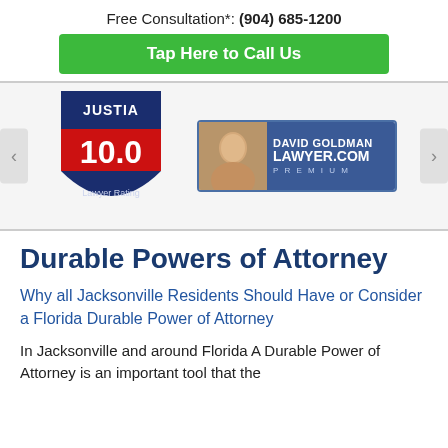Free Consultation*: (904) 685-1200
Tap Here to Call Us
[Figure (logo): Justia 10.0 Lawyer Rating badge and David Goldman Lawyer.com Premium badge]
Durable Powers of Attorney
Why all Jacksonville Residents Should Have or Consider a Florida Durable Power of Attorney
In Jacksonville and around Florida A Durable Power of Attorney is an important tool that the